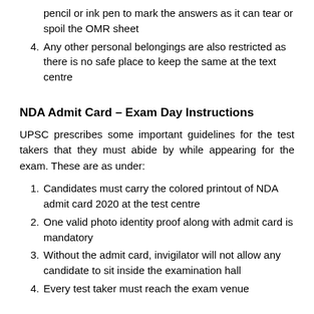pencil or ink pen to mark the answers as it can tear or spoil the OMR sheet
4. Any other personal belongings are also restricted as there is no safe place to keep the same at the text centre
NDA Admit Card – Exam Day Instructions
UPSC prescribes some important guidelines for the test takers that they must abide by while appearing for the exam. These are as under:
1. Candidates must carry the colored printout of NDA admit card 2020 at the test centre
2. One valid photo identity proof along with admit card is mandatory
3. Without the admit card, invigilator will not allow any candidate to sit inside the examination hall
4. Every test taker must reach the exam venue